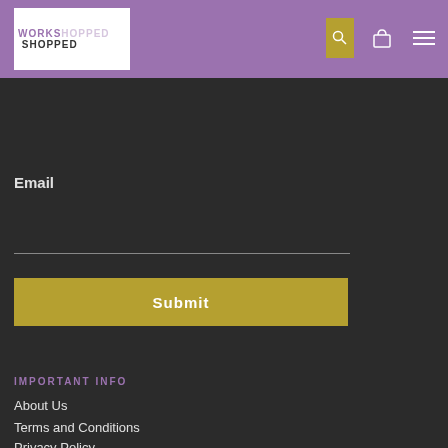[Figure (logo): WorkShopped logo in white box on purple header background]
Email
[Figure (other): Submit button with gold background]
IMPORTANT INFO
About Us
Terms and Conditions
Privacy Policy